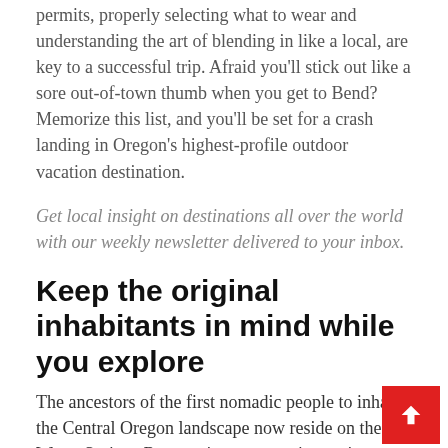permits, properly selecting what to wear and understanding the art of blending in like a local, are key to a successful trip. Afraid you’ll stick out like a sore out-of-town thumb when you get to Bend?  Memorize this list, and you’ll be set for a crash landing in Oregon’s highest-profile outdoor vacation destination.
Get local insight on destinations all over the world with our weekly newsletter delivered to your inbox.
Keep the original inhabitants in mind while you explore
The ancestors of the first nomadic people to inhabit the Central Oregon landscape now reside on the Warm Springs Reservation, a sovereign nation to the no... Bend. Visitors are permitted at the Museum at Warm